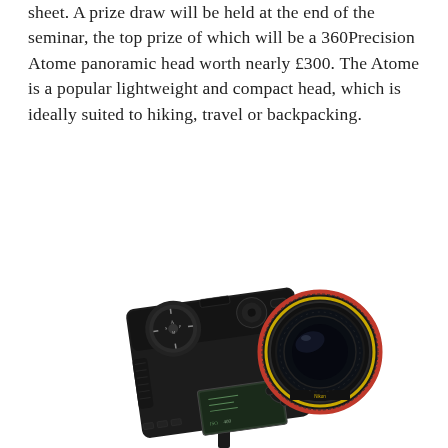sheet. A prize draw will be held at the end of the seminar, the top prize of which will be a 360Precision Atome panoramic head worth nearly £300. The Atome is a popular lightweight and compact head, which is ideally suited to hiking, travel or backpacking.
[Figure (photo): Top-down view of a Nikon DSLR camera with a wide-angle fish-eye lens mounted on a red and black 360Precision Atome panoramic tripod head]